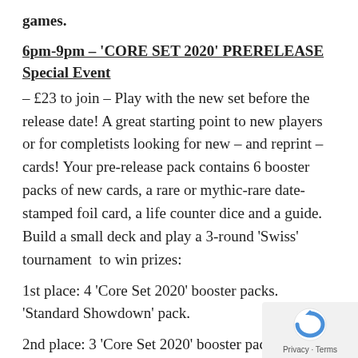games.
6pm-9pm – 'CORE SET 2020' PRERELEASE Special Event
– £23 to join – Play with the new set before the release date! A great starting point to new players or for completists looking for new – and reprint – cards! Your pre-release pack contains 6 booster packs of new cards, a rare or mythic-rare date-stamped foil card, a life counter dice and a guide. Build a small deck and play a 3-round 'Swiss' tournament  to win prizes:
1st place: 4 'Core Set 2020' booster packs. 'Standard Showdown' pack.
2nd place: 3 'Core Set 2020' booster packs. 'Standard Showdown' pack.
3rd place: 2 'Core Set 2020' booster packs. 'Standard